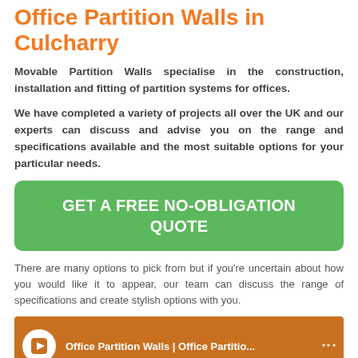Office Partition Walls in Culcharry
Movable Partition Walls specialise in the construction, installation and fitting of partition systems for offices.
We have completed a variety of projects all over the UK and our experts can discuss and advise you on the range and specifications available and the most suitable options for your particular needs.
GET A FREE NO-OBLIGATION QUOTE
There are many options to pick from but if you're uncertain about how you would like it to appear, our team can discuss the range of specifications and create stylish options with you.
[Figure (screenshot): Video thumbnail showing Office Partition Walls | Office Partitio... with a circular logo icon on an orange background]